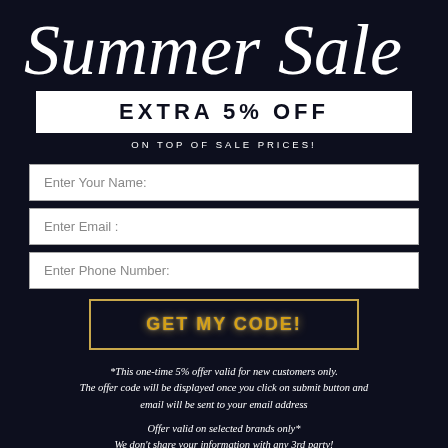Summer Sale
EXTRA 5% OFF
ON TOP OF SALE PRICES!
Enter Your Name:
Enter Email :
Enter Phone Number:
GET MY CODE!
*This one-time 5% offer valid for new customers only. The offer code will be displayed once you click on submit button and email will be sent to your email address
Offer valid on selected brands only* We don't share your information with any 3rd party!